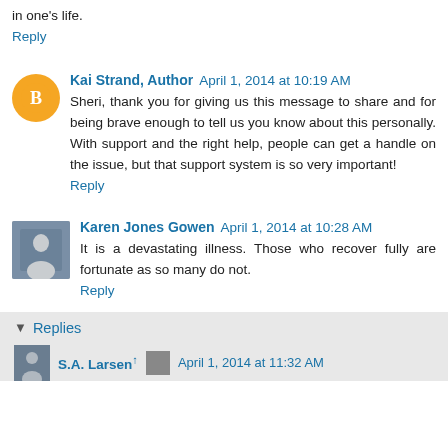in one's life.
Reply
Kai Strand, Author  April 1, 2014 at 10:19 AM
Sheri, thank you for giving us this message to share and for being brave enough to tell us you know about this personally. With support and the right help, people can get a handle on the issue, but that support system is so very important!
Reply
Karen Jones Gowen  April 1, 2014 at 10:28 AM
It is a devastating illness. Those who recover fully are fortunate as so many do not.
Reply
Replies
S.A. Larsen  April 1, 2014 at 11:32 AM